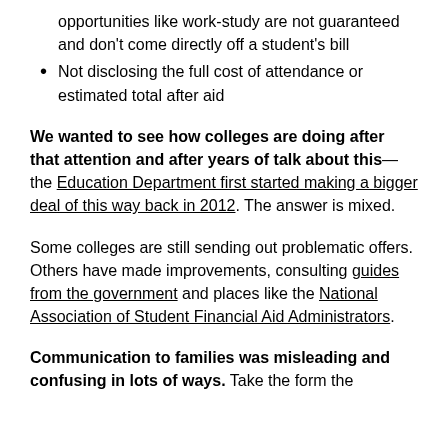opportunities like work-study are not guaranteed and don't come directly off a student's bill
Not disclosing the full cost of attendance or estimated total after aid
We wanted to see how colleges are doing after that attention and after years of talk about this—the Education Department first started making a bigger deal of this way back in 2012. The answer is mixed.
Some colleges are still sending out problematic offers. Others have made improvements, consulting guides from the government and places like the National Association of Student Financial Aid Administrators.
Communication to families was misleading and confusing in lots of ways. Take the form the